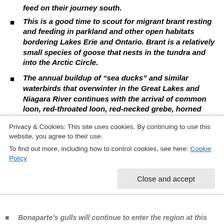This is a good time to scout for migrant brant resting and feeding in parkland and other open habitats bordering Lakes Erie and Ontario. Brant is a relatively small species of goose that nests in the tundra and into the Arctic Circle.
The annual buildup of “sea ducks” and similar waterbirds that overwinter in the Great Lakes and Niagara River continues with the arrival of common loon, red-throated loon, red-necked grebe, horned grebe, greater scaup, lesser scaup, canvasback, redhead, common goldeneye, bufflehead, white-winged scoter, surf scoter, black scoter, long-tailed duck, common merganser, and red-breasted merganser.
Privacy & Cookies: This site uses cookies. By continuing to use this website, you agree to their use.
To find out more, including how to control cookies, see here: Cookie Policy
Bonaparte’s gulls will continue to enter the region at this